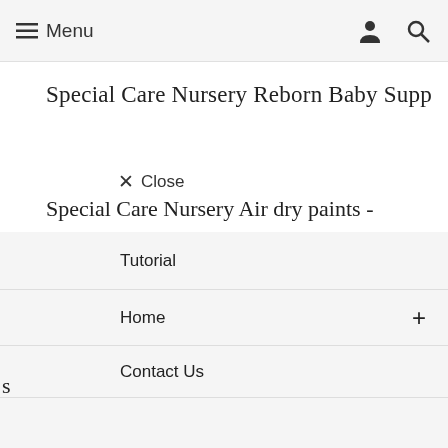≡ Menu
Special Care Nursery Reborn Baby Supp
× Close
Special Care Nursery Air dry paints -
Tutorial
Home +
s
Contact Us
[Figure (photo): Product image showing a white ribbed bottle/container on a light green-grey background]